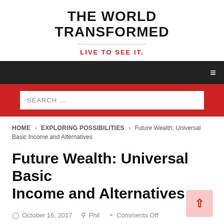THE WORLD TRANSFORMED
LIVE TO SEE IT.
SEARCH ...
HOME > EXPLORING POSSIBILITIES > Future Wealth: Universal Basic Income and Alternatives
Future Wealth: Universal Basic Income and Alternatives
October 16, 2017  Phil  Comments Off